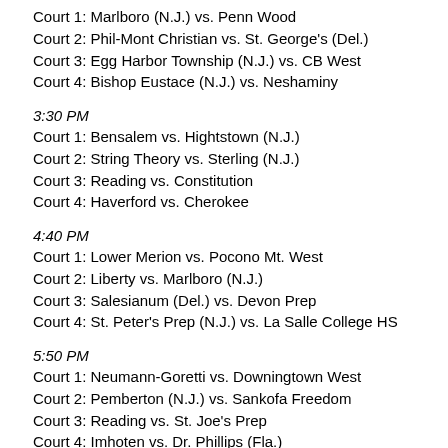Court 1: Marlboro (N.J.) vs. Penn Wood
Court 2: Phil-Mont Christian vs. St. George's (Del.)
Court 3: Egg Harbor Township (N.J.) vs. CB West
Court 4: Bishop Eustace (N.J.) vs. Neshaminy
3:30 PM
Court 1: Bensalem vs. Hightstown (N.J.)
Court 2: String Theory vs. Sterling (N.J.)
Court 3: Reading vs. Constitution
Court 4: Haverford vs. Cherokee
4:40 PM
Court 1: Lower Merion vs. Pocono Mt. West
Court 2: Liberty vs. Marlboro (N.J.)
Court 3: Salesianum (Del.) vs. Devon Prep
Court 4: St. Peter's Prep (N.J.) vs. La Salle College HS
5:50 PM
Court 1: Neumann-Goretti vs. Downingtown West
Court 2: Pemberton (N.J.) vs. Sankofa Freedom
Court 3: Reading vs. St. Joe's Prep
Court 4: Imhoten vs. Dr. Phillips (Fla.)